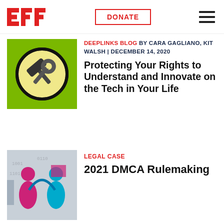Copyright Office
[Figure (logo): EFF logo in red with three red E-shaped bars]
DONATE
[Figure (illustration): Green square with yellow circle containing crossed hammer and wrench tools icon]
DEEPLINKS BLOG BY CARA GAGLIANO, KIT WALSH | DECEMBER 14, 2020
Protecting Your Rights to Understand and Innovate on the Tech in Your Life
[Figure (illustration): Stylized illustration of two human figures (pink and blue) connected by a curved line over a digital/binary background]
LEGAL CASE
2021 DMCA Rulemaking